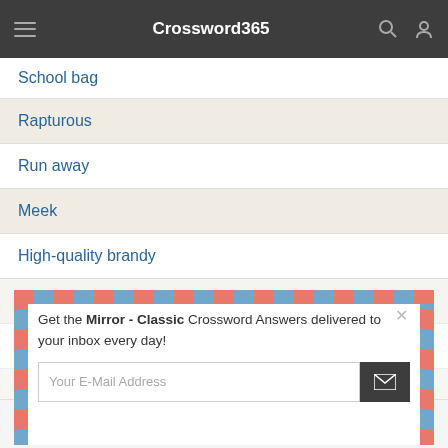Crossword365
School bag
Rapturous
Run away
Meek
High-quality brandy
Touch down
Square up to
Sea captain
[Figure (screenshot): Email subscription modal overlay with airmail-style border. Text reads: 'Get the Mirror - Classic Crossword Answers delivered to your inbox every day!' with an email input field and submit button.]
This website uses cookies to ensure you get the best experience on our website